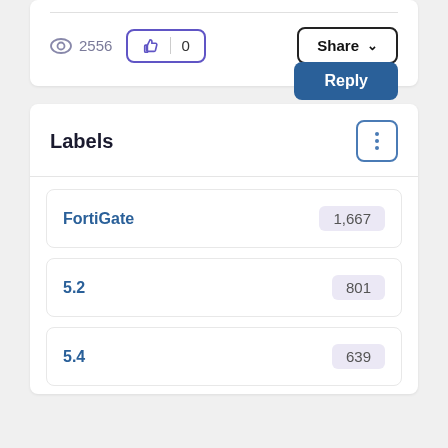2556
0
Share
Reply
Labels
FortiGate  1,667
5.2  801
5.4  639